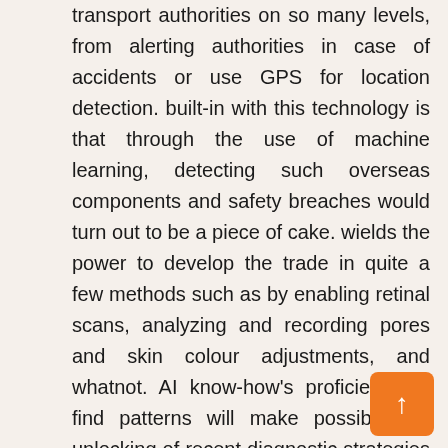transport authorities on so many levels, from alerting authorities in case of accidents or use GPS for location detection. built-in with this technology is that through the use of machine learning, detecting such overseas components and safety breaches would turn out to be a piece of cake. wields the power to develop the trade in quite a few methods such as by enabling retinal scans, analyzing and recording pores and skin colour adjustments, and whatnot. AI know-how's proficiency to find patterns will make possible the unlocking of recent diagnostic strategies and anticipate unknown danger elements.

In the former one, AI helps in identifying patterns in data sets and running predictive analytics. With the increasing size of the deep neural communities carrying complicated computation, the storage